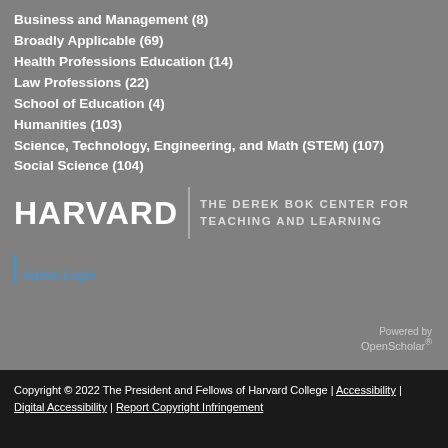Business and Management (8)
Broadly Applicable (69)
Health Professions Education (14)
Law Professions (22)
School of Education (4)
Humanities (103)
Science, Technology, Engineering, and Math (STEM) (107)
Social Science (104)
[Figure (logo): Harvard | The Derek Bok Center for Teaching and Learning logo]
Admin Login
Powered by OpenScholar®
Copyright © 2022 The President and Fellows of Harvard College | Accessibility | Digital Accessibility | Report Copyright Infringement